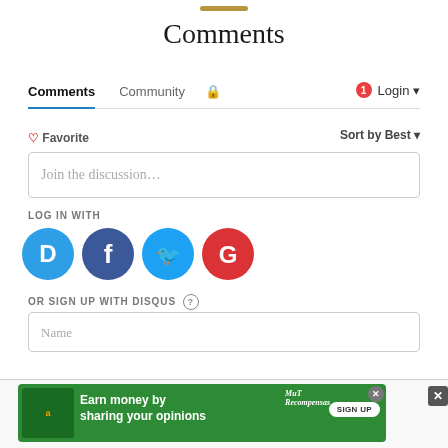Comments
Comments  Community  🔒  1  Login
♡ Favorite   Sort by Best
Join the discussion…
LOG IN WITH
[Figure (illustration): Four social login icons: Disqus (blue speech bubble with D), Facebook (blue circle with f), Twitter (blue circle with bird), Google (red circle with G)]
OR SIGN UP WITH DISQUS ?
Name
[Figure (illustration): Green advertisement banner: 'Earn money by sharing your opinions' with Amazon logo, MuT Recompensas logo, and SIGN UP button. Has close buttons.]